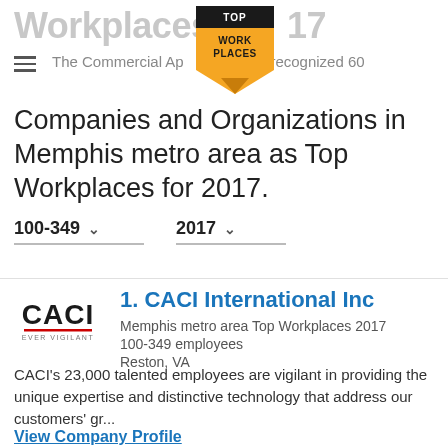Workplaces 2017
The Commercial Appeal has recognized 60 Companies and Organizations in Memphis metro area as Top Workplaces for 2017.
[Figure (logo): TOP WORK PLACES badge/ribbon in gold and dark color]
100-349 ∨   2017 ∨
[Figure (logo): CACI Ever Vigilant company logo with red underline]
1. CACI International Inc
Memphis metro area Top Workplaces 2017
100-349 employees
Reston, VA
CACI's 23,000 talented employees are vigilant in providing the unique expertise and distinctive technology that address our customers' gr...
View Company Profile